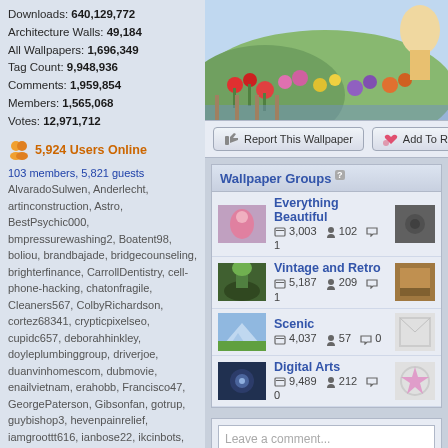Downloads: 640,129,772
Architecture Walls: 49,184
All Wallpapers: 1,696,349
Tag Count: 9,948,936
Comments: 1,959,854
Members: 1,565,068
Votes: 12,971,712
5,924 Users Online
103 members, 5,821 guests
AlvaradoSulwen, Anderlecht, artinconstruction, Astro, BestPsychic000, bmpressurewashing2, Boatent98, boliou, brandbajade, bridgecounseling, brighterfinance, CarrollDentistry, cell-phone-hacking, chatonfragile, Cleaners567, ColbyRichardson, cortez68341, crypticpixelseo, cupidc657, deborahhinkley, doyleplumbinggroup, driverjoe, duanvinhomescom, dubmovie, enailvietnam, erahobb, Francisco47, GeorgePaterson, Gibsonfan, gotrup, guybishop3, hevenpainrelief, iamgroottt616, ianbose22, ikcinbots, infognana, Installationvinyl11, jasonguck, JokersStash, josephfirarae, jun8888, KayaXu8, khungnhomkinhvietphon..., kinggohan, Lalina, Lamamake, leonbetappin, lertuiosq, lilla811, lirikmerch, maayash, macthanhvu, marquishar­kley
[Figure (photo): Garden/nature wallpaper with colorful flowers]
Report This Wallpaper
Add To R
Wallpaper Groups
Everything Beautiful
3,003  102  1
Vintage and Retro
5,187  209  1
Scenic
4,037  57  0
Digital Arts
9,489  212  0
Leave a comment...
Wallpaper Comments (6)